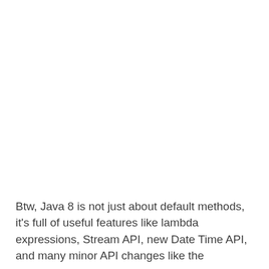Btw, Java 8 is not just about default methods, it's full of useful features like lambda expressions, Stream API, new Date Time API, and many minor API changes like the